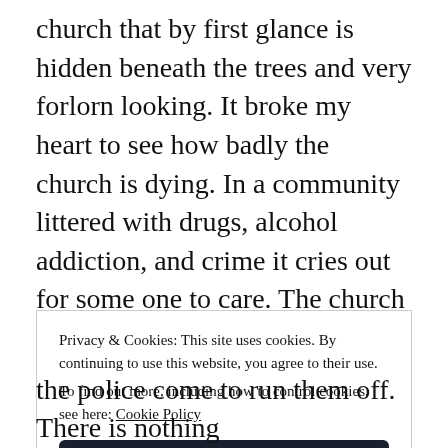church that by first glance is hidden beneath the trees and very forlorn looking. It broke my heart to see how badly the church is dying. In a community littered with drugs, alcohol addiction, and crime it cries out for some one to care. The church has been through some trying times the last few years. It has gone from being a very prosperous church to one that is so close to dying. Only four families remain at
Privacy & Cookies: This site uses cookies. By continuing to use this website, you agree to their use. To find out more, including how to control cookies, see here: Cookie Policy
Close and accept
the police come to run them off. There is nothing